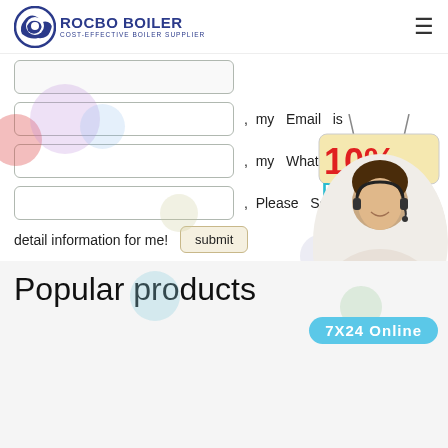ROCBO BOILER — COST-EFFECTIVE BOILER SUPPLIER
[Figure (screenshot): Web contact form with three input fields for Email, WhatsApp, and a third field. Labels read: ', my Email is', ', my WhatsApp is', ', Please Send the detail information for me!'. A submit button and a 10% DISCOUNT badge are visible. A customer service agent photo and a '7X24 Online' bar appear in the lower right.]
Popular products